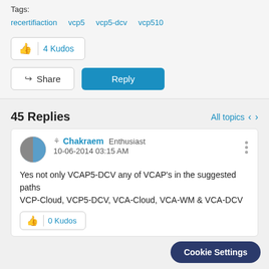Tags:
recertifiaction   vcp5   vcp5-dcv   vcp510
4 Kudos
Share
Reply
45 Replies
All topics
Chakraem  Enthusiast
10-06-2014 03:15 AM
Yes not only VCAP5-DCV any of VCAP's in the suggested paths
VCP-Cloud, VCP5-DCV, VCA-Cloud, VCA-WM & VCA-DCV
0 Kudos
Cookie Settings